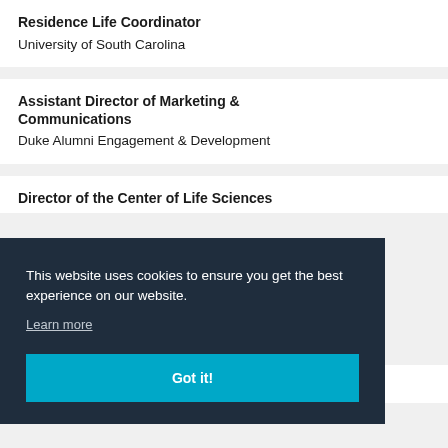Residence Life Coordinator
University of South Carolina
Assistant Director of Marketing & Communications
Duke Alumni Engagement & Development
Director of the Center of Life Sciences
This website uses cookies to ensure you get the best experience on our website.
Learn more
Got it!
Adult Health Faculty, School of Nursing (IHP)